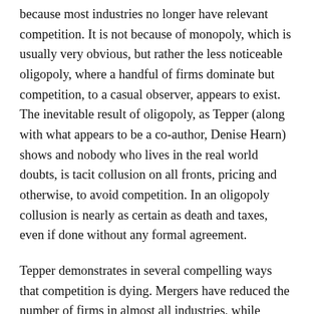because most industries no longer have relevant competition. It is not because of monopoly, which is usually very obvious, but rather the less noticeable oligopoly, where a handful of firms dominate but competition, to a casual observer, appears to exist. The inevitable result of oligopoly, as Tepper (along with what appears to be a co-author, Denise Hearn) shows and nobody who lives in the real world doubts, is tacit collusion on all fronts, pricing and otherwise, to avoid competition. In an oligopoly collusion is nearly as certain as death and taxes, even if done without any formal agreement.
Tepper demonstrates in several compelling ways that competition is dying. Mergers have reduced the number of firms in almost all industries, while antitrust enforcement has declined over the past four decades to